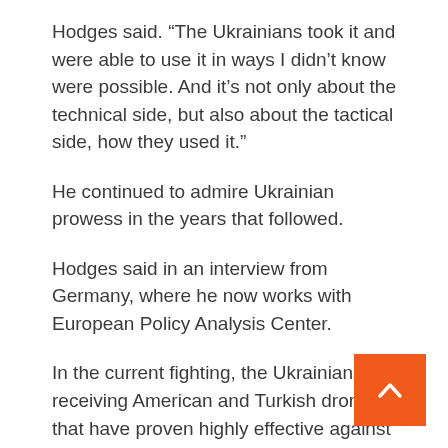Hodges said. “The Ukrainians took it and were able to use it in ways I didn’t know were possible. And it’s not only about the technical side, but also about the tactical side, how they used it.”
He continued to admire Ukrainian prowess in the years that followed.
Hodges said in an interview from Germany, where he now works with European Policy Analysis Center.
In the current fighting, the Ukrainians are receiving American and Turkish drones that have proven highly effective against Russian armor and troops.
[Figure (other): Orange scroll-to-top button with a white upward chevron arrow in the bottom-right corner]